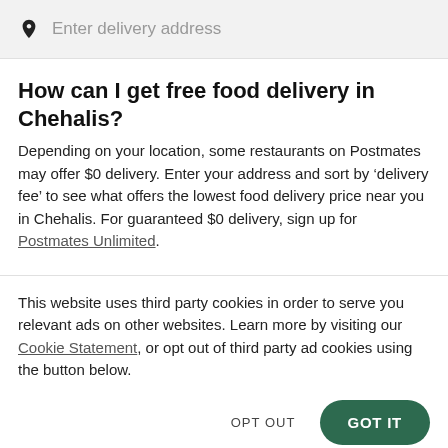Enter delivery address
How can I get free food delivery in Chehalis?
Depending on your location, some restaurants on Postmates may offer $0 delivery. Enter your address and sort by ‘delivery fee’ to see what offers the lowest food delivery price near you in Chehalis. For guaranteed $0 delivery, sign up for Postmates Unlimited.
This website uses third party cookies in order to serve you relevant ads on other websites. Learn more by visiting our Cookie Statement, or opt out of third party ad cookies using the button below.